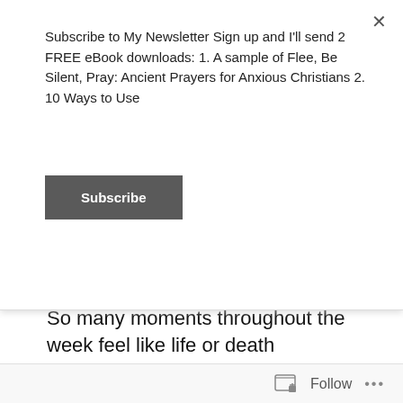Subscribe to My Newsletter Sign up and I'll send 2 FREE eBook downloads: 1. A sample of Flee, Be Silent, Pray: Ancient Prayers for Anxious Christians 2. 10 Ways to Use
Subscribe
So many moments throughout the week feel like life or death struggles, and the thing that I've found is that I'll only speak to those struggles if I take risks, if I dig deep into my own flaws and personal battles.
Herein is the risk of really writing. We can play about with attacks on what we are not, and there may be times when these
Follow ···